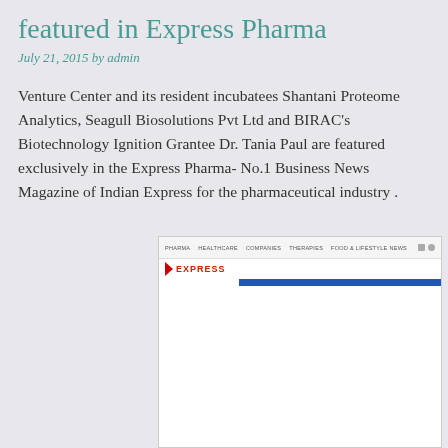featured in Express Pharma
July 21, 2015 by admin
Venture Center and its resident incubatees Shantani Proteome Analytics, Seagull Biosolutions Pvt Ltd and BIRAC’s Biotechnology Ignition Grantee Dr. Tania Paul are featured exclusively in the Express Pharma- No.1 Business News Magazine of Indian Express for the pharmaceutical industry .
[Figure (screenshot): Screenshot of the Express Pharma website showing the navigation bar with links (PHARMA, HEALTHCARE, COMPANIES, THERAPIES, FOOD & LIFESTYLE NEWS), social media icons, and the Express Pharma logo with a red arrow and blue header bar.]